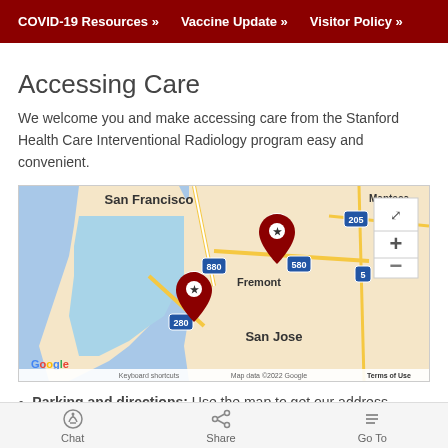COVID-19 Resources »   Vaccine Update »   Visitor Policy »
Accessing Care
We welcome you and make accessing care from the Stanford Health Care Interventional Radiology program easy and convenient.
[Figure (map): Google Maps screenshot showing the San Francisco Bay Area with two dark red location pins with star markers near Fremont and south of San Francisco. Map shows San Francisco, Fremont, San Jose, Manteca, highways 880, 580, 280, 205, and 5. Google logo visible at bottom left. Map data ©2022 Google. Controls for zoom (+/-) and full screen visible on right side.]
Parking and directions: Use the map to get our address, directions, and parking information.